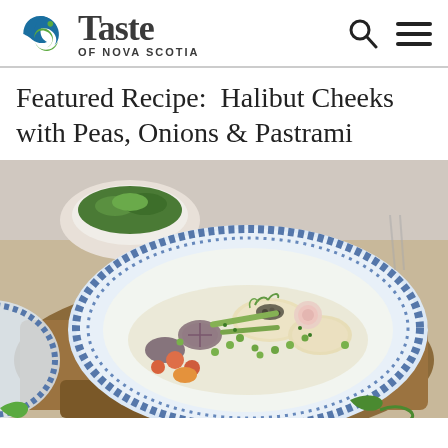Taste of Nova Scotia
Featured Recipe:  Halibut Cheeks with Peas, Onions & Pastrami
[Figure (photo): A blue-and-white patterned ceramic bowl filled with a gourmet dish of halibut cheeks with peas, onions, pickled radish, mustard seeds, herbs, and vegetables, placed on a wooden cutting board. A bowl of arugula salad is visible in the background.]